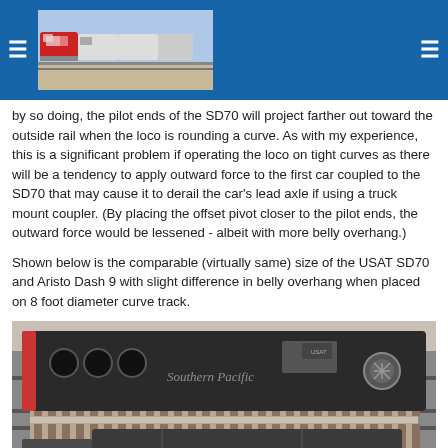[Figure (photo): Blue header bar with hamburger menu icons on left and right, and a photograph of a red and silver locomotive train at a station in the center.]
by so doing, the pilot ends of the SD70 will project farther out toward the outside rail when the loco is rounding a curve. As with my experience, this is a significant problem if operating the loco on tight curves as there will be a tendency to apply outward force to the first car coupled to the SD70 that may cause it to derail the car's lead axle if using a truck mount coupler. (By placing the offset pivot closer to the pilot ends, the outward force would be lessened - albeit with more belly overhang.)
Shown below is the comparable (virtually same) size of the USAT SD70 and Aristo Dash 9 with slight difference in belly overhang when placed on 8 foot diameter curve track.
[Figure (photo): Overhead/top-down view of two model train locomotives placed on model railroad track. The top loco reads 'Southern Pacific' and is a dark grey/black diesel. The bottom loco is also dark grey. Both are on a white surface with the track visible beneath them.]